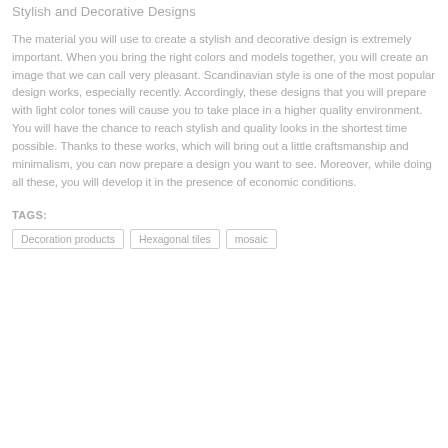Stylish and Decorative Designs
The material you will use to create a stylish and decorative design is extremely important. When you bring the right colors and models together, you will create an image that we can call very pleasant. Scandinavian style is one of the most popular design works, especially recently. Accordingly, these designs that you will prepare with light color tones will cause you to take place in a higher quality environment. You will have the chance to reach stylish and quality looks in the shortest time possible. Thanks to these works, which will bring out a little craftsmanship and minimalism, you can now prepare a design you want to see. Moreover, while doing all these, you will develop it in the presence of economic conditions.
TAGS:
Decoration products
Hexagonal tiles
mosaic